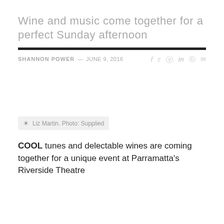Wine and music come together for a perfect Sunday afternoon
SHANNON POWER — JUNE 9, 2016
[Figure (photo): Photo placeholder area with caption: Liz Martin. Photo: Supplied]
Liz Martin. Photo: Supplied
COOL tunes and delectable wines are coming together for a unique event at Parramatta's Riverside Theatre